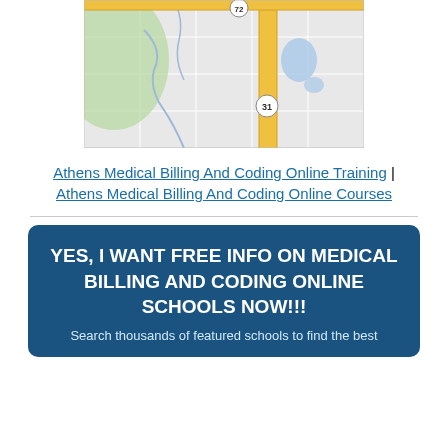[Figure (map): A street/road map showing highways 72 and 31 with grid streets, a yellow main road, and some blue water features on a grey background.]
Athens Medical Billing And Coding Online Training | Athens Medical Billing And Coding Online Courses
YES, I WANT FREE INFO ON MEDICAL BILLING AND CODING ONLINE SCHOOLS NOW!!!
Search thousands of featured schools to find the best